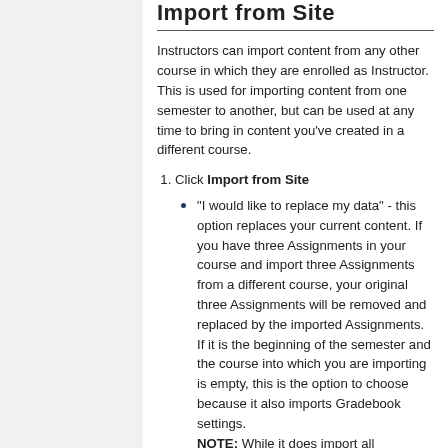Import from Site
Instructors can import content from any other course in which they are enrolled as Instructor. This is used for importing content from one semester to another, but can be used at any time to bring in content you've created in a different course.
Click Import from Site
"I would like to replace my data" - this option replaces your current content. If you have three Assignments in your course and import three Assignments from a different course, your original three Assignments will be removed and replaced by the imported Assignments. If it is the beginning of the semester and the course into which you are importing is empty, this is the option to choose because it also imports Gradebook settings. NOTE: While it does import all